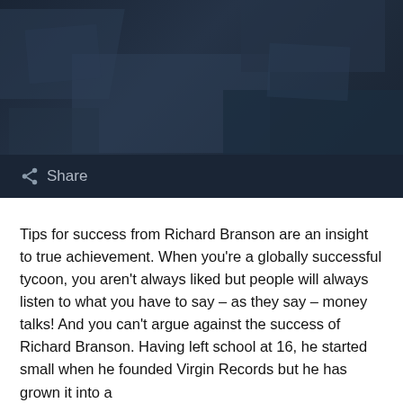[Figure (photo): Dark blue-grey hero image with abstract overlapping rectangular shapes in varying dark navy tones, resembling a shadowed architectural or abstract background. A share button with icon is visible at the bottom left.]
Tips for success from Richard Branson are an insight to true achievement. When you're a globally successful tycoon, you aren't always liked but people will always listen to what you have to say – as they say – money talks! And you can't argue against the success of Richard Branson. Having left school at 16, he started small when he founded Virgin Records but he has grown it into a